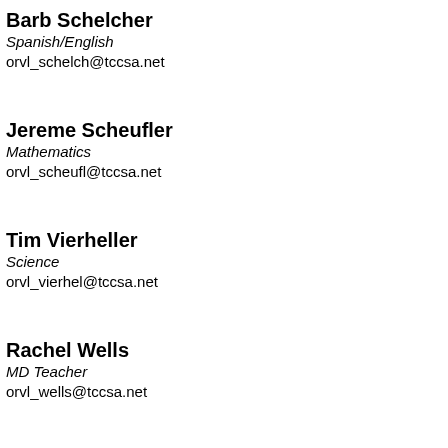Barb Schelcher
Spanish/English
orvl_schelch@tccsa.net
Jereme Scheufler
Mathematics
orvl_scheufl@tccsa.net
Tim Vierheller
Science
orvl_vierhel@tccsa.net
Rachel Wells
MD Teacher
orvl_wells@tccsa.net